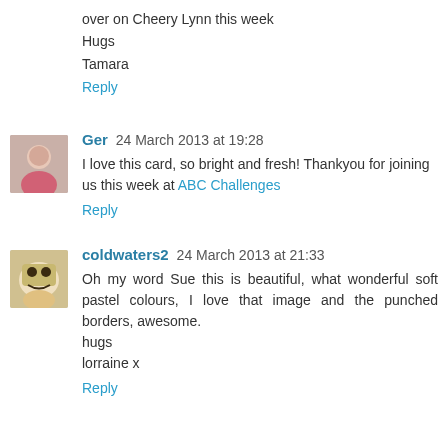over on Cheery Lynn this week
Hugs
Tamara
Reply
Ger  24 March 2013 at 19:28
I love this card, so bright and fresh! Thankyou for joining us this week at ABC Challenges
Reply
coldwaters2  24 March 2013 at 21:33
Oh my word Sue this is beautiful, what wonderful soft pastel colours, I love that image and the punched borders, awesome.
hugs
lorraine x
Reply